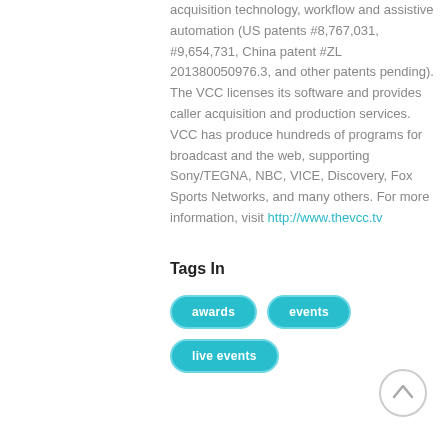acquisition technology, workflow and assistive automation (US patents #8,767,031, #9,654,731, China patent #ZL 201380050976.3, and other patents pending). The VCC licenses its software and provides caller acquisition and production services. VCC has produce hundreds of programs for broadcast and the web, supporting Sony/TEGNA, NBC, VICE, Discovery, Fox Sports Networks, and many others. For more information, visit http://www.thevcc.tv
Tags In
awards
events
live events